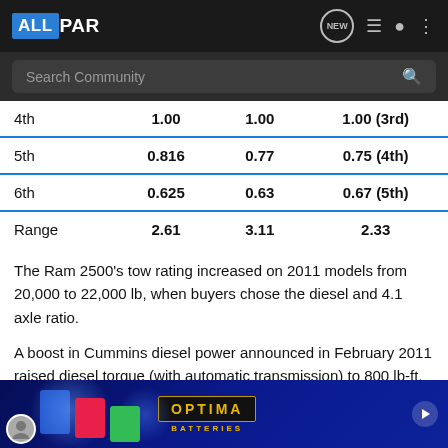ALLPAR - navigation bar with search
| Gear | Col2 | Col3 | Col4 |
| --- | --- | --- | --- |
| 4th | 1.00 | 1.00 | 1.00 (3rd) |
| 5th | 0.816 | 0.77 | 0.75 (4th) |
| 6th | 0.625 | 0.63 | 0.67 (5th) |
| Range | 2.61 | 3.11 | 2.33 |
The Ram 2500's tow rating increased on 2011 models from 20,000 to 22,000 lb, when buyers chose the diesel and 4.1 axle ratio.
A boost in Cummins diesel power announced in February 2011 raised diesel torque (with automatic transmission) to 800 lb-ft, keeping peak horsepower at 350 but adding 40 hp more at lower en...d that Ram pic...the
[Figure (photo): Optima Batteries advertisement banner with blue glow background and battery products]